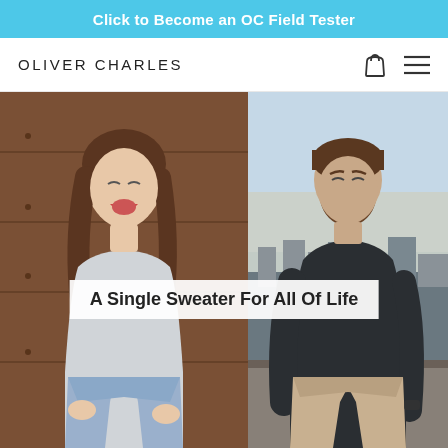Click to Become an OC Field Tester
OLIVER CHARLES
[Figure (photo): Website screenshot of Oliver Charles brand page showing a woman in a light grey sweater laughing in front of a wooden wall on the left, and a man in a dark sweater standing on a rooftop with a city skyline on the right. An overlaid text box reads 'A Single Sweater For All Of Life'.]
A Single Sweater For All Of Life